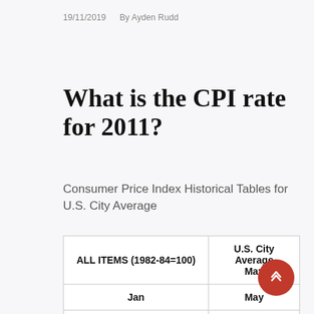19/11/2019   By Ayden Rudd
What is the CPI rate for 2011?
Consumer Price Index Historical Tables for U.S. City Average
| ALL ITEMS (1982-84=100) | U.S. City Average May |
| --- | --- |
| Jan | May |
| Percent change from 12 months ago |  |
| 2011 | 1.6 | 3.6 |